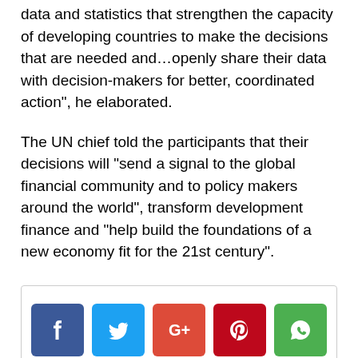data and statistics that strengthen the capacity of developing countries to make the decisions that are needed and…openly share their data with decision-makers for better, coordinated action", he elaborated.
The UN chief told the participants that their decisions will “send a signal to the global financial community and to policy makers around the world”, transform development finance and “help build the foundations of a new economy fit for the 21st century”.
[Figure (other): Social media sharing buttons: Facebook, Twitter, Google+, Pinterest, WhatsApp icons, and a Tweet button]